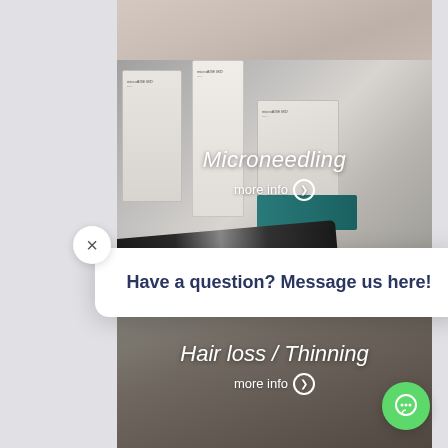[Figure (photo): Close-up of a person's chin/neck area with light stubble, cropped portrait photo at top of page]
[Figure (photo): Microneedling products including PRPIN pen device, skincare boxes labeled microAGE MD, and a teal-labeled tube, displayed on a surface]
Microneedling
more info ❯
[Figure (photo): Hair loss / Thinning background image section]
Hair loss / Thinning
more info ❯
Have a question? Message us here!